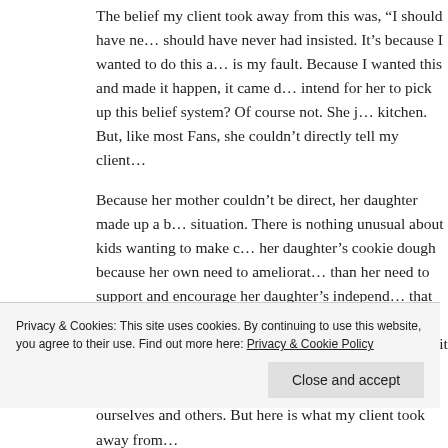The belief my client took away from this was, “I should have never had insisted. It’s because I wanted to do this and made it happen, it came … intend for her to pick up this belief system? Of course not. She just kitchen. But, like most Fans, she couldn’t directly tell my client…
Because her mother couldn’t be direct, her daughter made up a … situation. There is nothing unusual about kids wanting to make … her daughter’s cookie dough because her own need to ameliorate… than her need to support and encourage her daughter’s independ… that experience that not only was she a bad cook, but that she sh… What my client should have taken away from it was that her mo… letting her make the cookies. My client did not notice the sabota… their parent is setting them up for failure?
Privacy & Cookies: This site uses cookies. By continuing to use this website, you agree to their use. Find out more here: Privacy & Cookie Policy
ourselves and others. But here is what my client took away from…